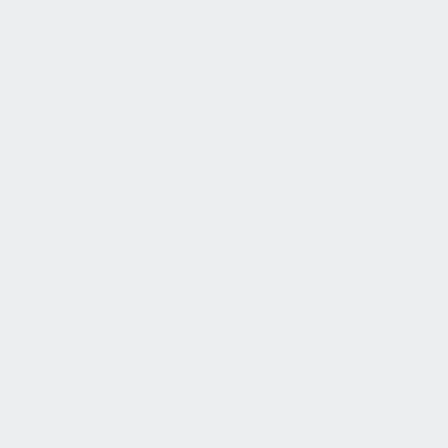[Figure (illustration): Left panel with light gray/blue background, approximately 2/3 of the page width]
Major thankies fo
miracle bus
Very neat post. G
salman kha
Thanks-a-mundo
townhomes
I appreciate you
buy mango